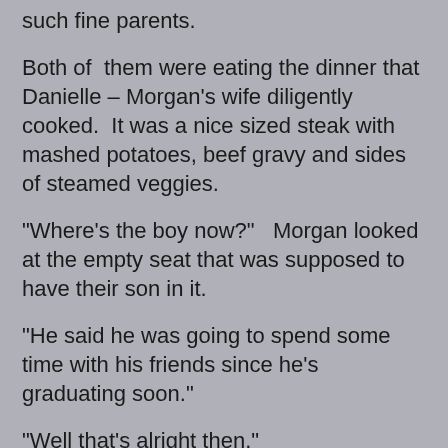such fine parents.
Both of  them were eating the dinner that Danielle – Morgan's wife diligently cooked.  It was a nice sized steak with mashed potatoes, beef gravy and sides of steamed veggies.
“Where's the boy now?”   Morgan looked at the empty seat that was supposed to have their son in it.
“He said he was going to spend some time with his friends since he's graduating soon.”
“Well that’s alright then.”
After dinner the two went to the living room and were sitting together with the wife laying her head on his lap, they were watching a display on the wall that was showing some other’s who appeared to be around the same age as them